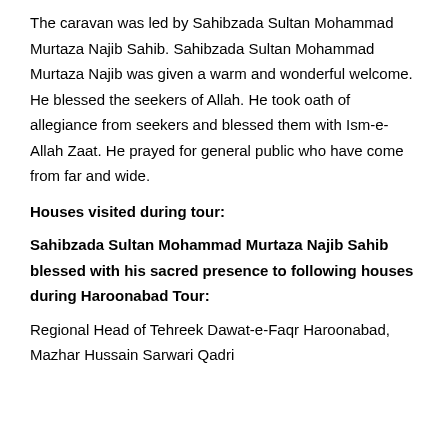The caravan was led by Sahibzada Sultan Mohammad Murtaza Najib Sahib. Sahibzada Sultan Mohammad Murtaza Najib was given a warm and wonderful welcome. He blessed the seekers of Allah. He took oath of allegiance from seekers and blessed them with Ism-e-Allah Zaat. He prayed for general public who have come from far and wide.
Houses visited during tour:
Sahibzada Sultan Mohammad Murtaza Najib Sahib blessed with his sacred presence to following houses during Haroonabad Tour:
Regional Head of Tehreek Dawat-e-Faqr Haroonabad, Mazhar Hussain Sarwari Qadri